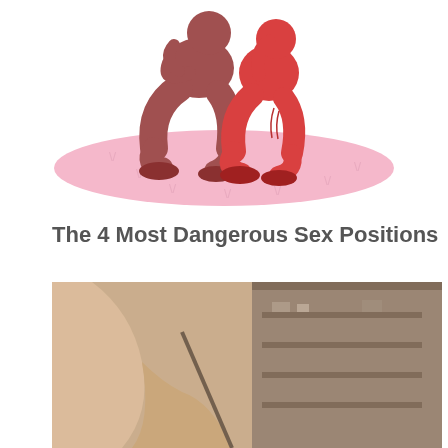[Figure (illustration): Cartoon illustration of two figures in a squatting position on a pink oval shape, one dark brown and one red/salmon colored, with small grass marks around the oval.]
The 4 Most Dangerous Sex Positions
[Figure (photo): A photograph showing a person's body in a dimly lit room, partially visible limbs and a blurred background with shelving.]